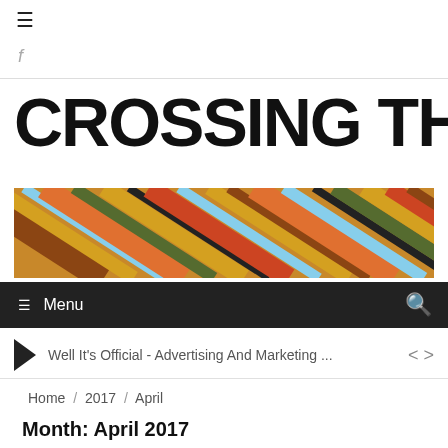≡
f
CROSSING THE LINE
[Figure (illustration): Abstract colorful diagonal stripes banner image in multiple colors including blue, red, yellow, green, brown, and orange]
≡ Menu
Well It's Official - Advertising And Marketing ...
Home / 2017 / April
Month: April 2017